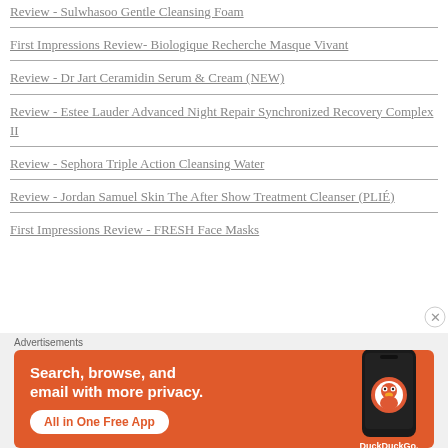Review - Sulwhasoo Gentle Cleansing Foam
First Impressions Review- Biologique Recherche Masque Vivant
Review - Dr Jart Ceramidin Serum & Cream (NEW)
Review - Estee Lauder Advanced Night Repair Synchronized Recovery Complex II
Review - Sephora Triple Action Cleansing Water
Review - Jordan Samuel Skin The After Show Treatment Cleanser (PLIÉ)
First Impressions Review - FRESH Face Masks
[Figure (other): DuckDuckGo advertisement banner: orange background with text 'Search, browse, and email with more privacy. All in One Free App' and DuckDuckGo logo with phone illustration]